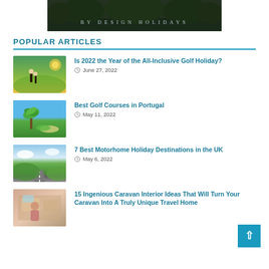[Figure (logo): By Design Holidays logo — dark background with stylized text reading BY DESIGN HOLIDAYS]
POPULAR ARTICLES
Is 2022 the Year of the All-Inclusive Golf Holiday? — June 27, 2022
Best Golf Courses in Portugal — May 11, 2022
7 Best Motorhome Holiday Destinations in the UK — May 6, 2022
15 Ingenious Caravan Interior Ideas That Will Turn Your Caravan Into A Truly Unique Travel Home